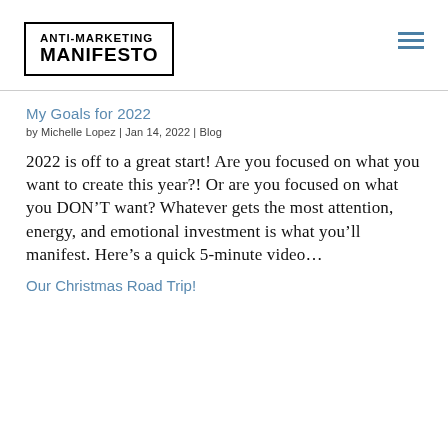ANTI-MARKETING MANIFESTO
My Goals for 2022
by Michelle Lopez | Jan 14, 2022 | Blog
2022 is off to a great start! Are you focused on what you want to create this year?! Or are you focused on what you DON’T want? Whatever gets the most attention, energy, and emotional investment is what you’ll manifest. Here’s a quick 5-minute video…
Our Christmas Road Trip!